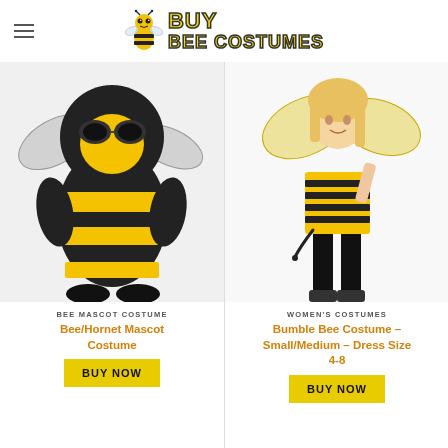[Figure (logo): Buy Bee Costumes logo with cartoon bee and yellow stylized text]
[Figure (photo): Bee/Hornet mascot costume full body suit, black and yellow furry with wings]
BEE MASCOT COSTUME
Bee/Hornet Mascot Costume
BUY NOW
[Figure (photo): Woman wearing bumble bee costume - yellow and black striped strapless mini dress with wings, black stockings]
WOMEN'S COSTUMES
Bumble Bee Costume – Small/Medium – Dress Size 4-8
BUY NOW